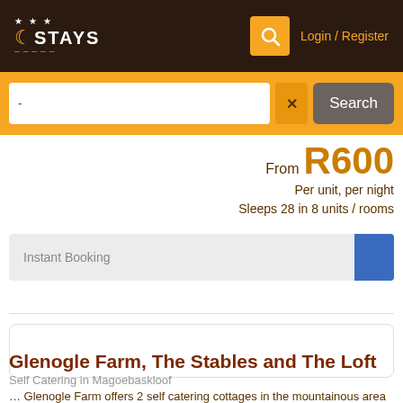STAYS — Login / Register
-
Search
From R600
Per unit, per night
Sleeps 28 in 8 units / rooms
Instant Booking
Glenogle Farm, The Stables and The Loft
Self Catering in Magoebaskloof
… Glenogle Farm offers 2 self catering cottages in the mountainous area of Magoebaskloof in the Limpopo